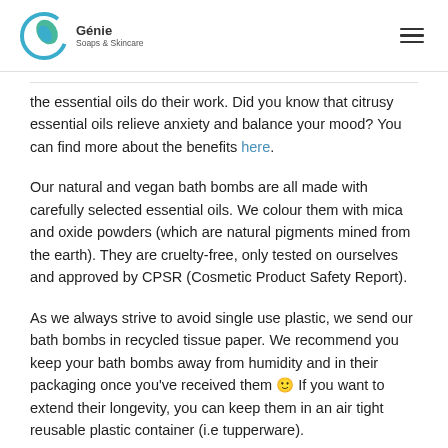Génie Soaps & Skincare
the essential oils do their work. Did you know that citrusy essential oils relieve anxiety and balance your mood? You can find more about the benefits here.
Our natural and vegan bath bombs are all made with carefully selected essential oils. We colour them with mica and oxide powders (which are natural pigments mined from the earth). They are cruelty-free, only tested on ourselves and approved by CPSR (Cosmetic Product Safety Report).
As we always strive to avoid single use plastic, we send our bath bombs in recycled tissue paper. We recommend you keep your bath bombs away from humidity and in their packaging once you've received them 🙂 If you want to extend their longevity, you can keep them in an air tight reusable plastic container (i.e tupperware).